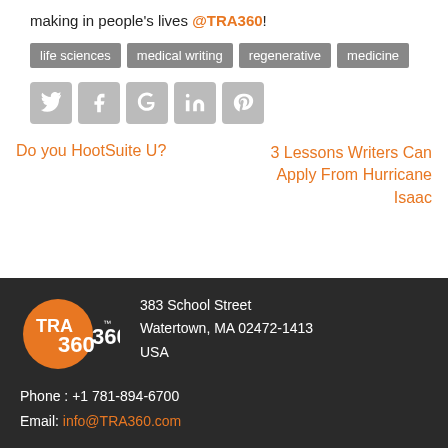making in people's lives @TRA360!
life sciences   medical writing   regenerative medicine
[Figure (illustration): Social media icons row: Twitter, Facebook, Google+, LinkedIn, Pinterest — all in grey]
Do you HootSuite U?
3 Lessons Writers Can Apply From Hurricane Isaac
383 School Street, Watertown, MA 02472-1413 USA | Phone: +1 781-894-6700 | Email: info@TRA360.com